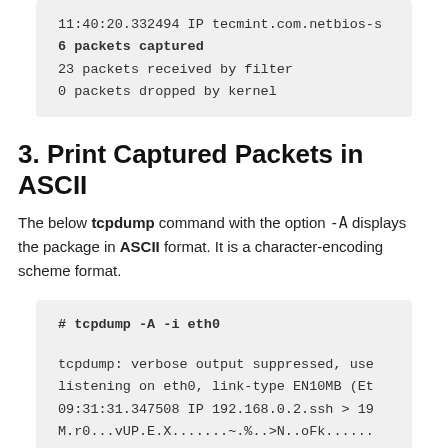11:40:20.332494 IP tecmint.com.netbios-s
6 packets captured
23 packets received by filter
0 packets dropped by kernel
3. Print Captured Packets in ASCII
The below tcpdump command with the option -A displays the package in ASCII format. It is a character-encoding scheme format.
# tcpdump -A -i eth0

tcpdump: verbose output suppressed, use
listening on eth0, link-type EN10MB (Eth
09:31:31.347508 IP 192.168.0.2.ssh > 192
M.r0...vUP.E.X.......~.%..>N..oFk......
09:31:31.347760 IP 192.168.0.1.nokia-ana